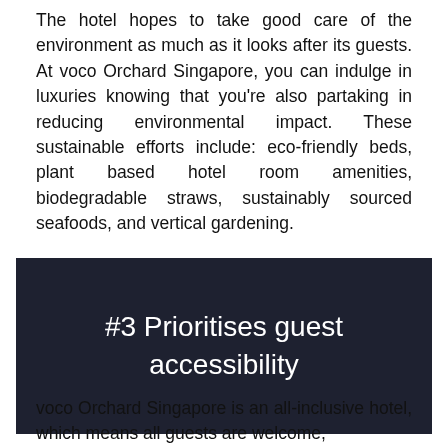The hotel hopes to take good care of the environment as much as it looks after its guests. At voco Orchard Singapore, you can indulge in luxuries knowing that you're also partaking in reducing environmental impact. These sustainable efforts include: eco-friendly beds, plant based hotel room amenities, biodegradable straws, sustainably sourced seafoods, and vertical gardening.
#3 Prioritises guest accessibility
voco Orchard Singapore is an all-inclusive hotel, which means all guests are welcome,